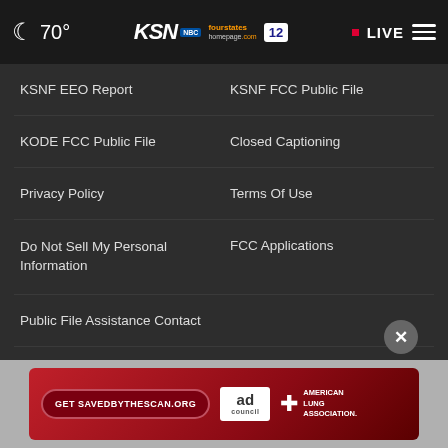70° KSN fourstates homepage.com 12 • LIVE ☰
KSNF EEO Report
KSNF FCC Public File
KODE FCC Public File
Closed Captioning
Privacy Policy
Terms Of Use
Do Not Sell My Personal Information
FCC Applications
Public File Assistance Contact
The Hill
NewsNation
BestRev...
[Figure (screenshot): Advertisement banner: Get SAVEDBYTHESCAN.ORG with ad council logo and American Lung Association branding]